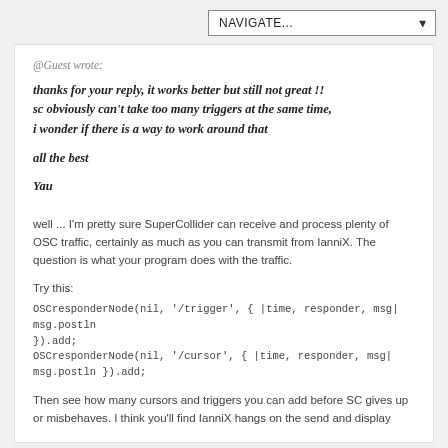NAVIGATE...
@Guest wrote:
thanks for your reply, it works better but still not great !!
sc obviously can't take too many triggers at the same time,
i wonder if there is a way to work around that

all the best

Yau
well ... I'm pretty sure SuperCollider can receive and process plenty of OSC traffic, certainly as much as you can transmit from IanniX. The question is what your program does with the traffic.
Try this:
OSCresponderNode(nil, '/trigger', { |time, responder, msg| msg.postln
}).add;
OSCresponderNode(nil, '/cursor', { |time, responder, msg| msg.postln }).add;
Then see how many cursors and triggers you can add before SC gives up or misbehaves. I think you'll find IanniX hangs on the send and display side before SC will have a problem.